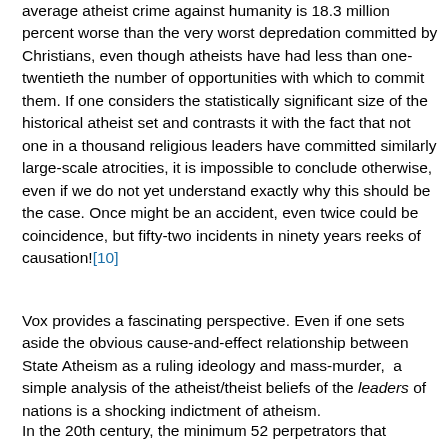average atheist crime against humanity is 18.3 million percent worse than the very worst depredation committed by Christians, even though atheists have had less than one-twentieth the number of opportunities with which to commit them. If one considers the statistically significant size of the historical atheist set and contrasts it with the fact that not one in a thousand religious leaders have committed similarly large-scale atrocities, it is impossible to conclude otherwise, even if we do not yet understand exactly why this should be the case. Once might be an accident, even twice could be coincidence, but fifty-two incidents in ninety years reeks of causation![10]
Vox provides a fascinating perspective. Even if one sets aside the obvious cause-and-effect relationship between State Atheism as a ruling ideology and mass-murder, a simple analysis of the atheist/theist beliefs of the leaders of nations is a shocking indictment of atheism.
In the 20th century, the minimum 52 perpetrators that...